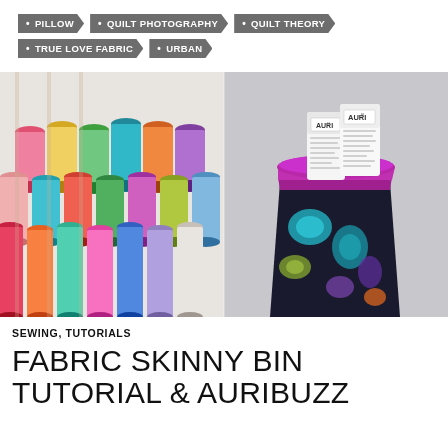PILLOW
QUILT PHOTOGRAPHY
QUILT THEORY
TRUE LOVE FABRIC
URBAN
[Figure (photo): Left half: colorful thread spools arranged on a wooden structure against a white background. Right half: a fabric bin/basket with dark floral print fabric (blue, teal, green, purple flowers on dark background) with a purple/magenta top border, holding two AURI product packages.]
SEWING, TUTORIALS
FABRIC SKINNY BIN TUTORIAL & AURIBUZZ